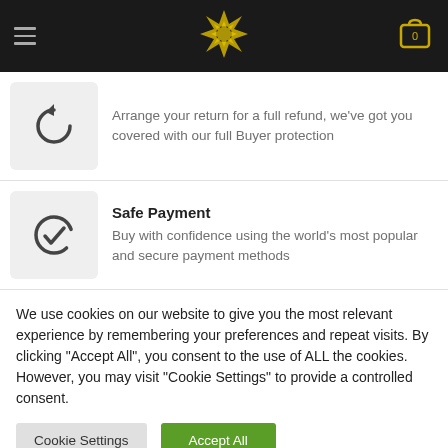[Figure (screenshot): E-commerce website header with dark background, hamburger menu icon on left, golden gear/star logo in center, shopping cart icon with '0' on right]
Arrange your return for a full refund, we've got you covered with our full Buyer protection
Safe Payment
Buy with confidence using the world's most popular and secure payment methods
We use cookies on our website to give you the most relevant experience by remembering your preferences and repeat visits. By clicking "Accept All", you consent to the use of ALL the cookies. However, you may visit "Cookie Settings" to provide a controlled consent.